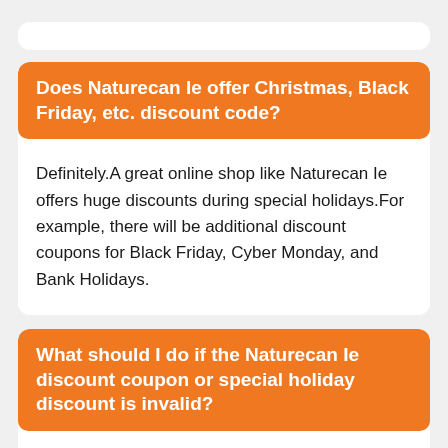Does Naturecan Ie offer Christmas, Black Friday, etc. discount code?
Definitely.A great online shop like Naturecan Ie offers huge discounts during special holidays.For example, there will be additional discount coupons for Black Friday, Cyber Monday, and Bank Holidays.
What should I do if the Naturecan Ie discount coupon or special holiday discount is invalid?
As a general rule, coupons or holiday discounts are not always valid and typically expire within one to two weeks.Therefore, it is recommended that you use them before they expire.In the event that the coupons are invalid, observe Naturecan Ie's